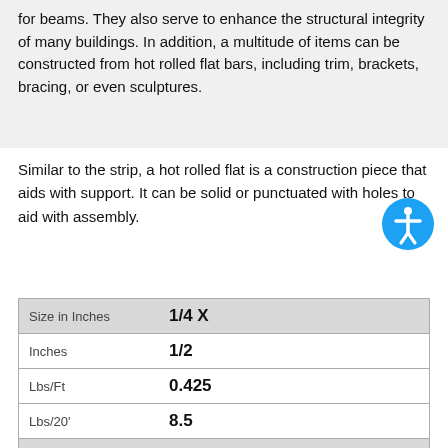for beams. They also serve to enhance the structural integrity of many buildings. In addition, a multitude of items can be constructed from hot rolled flat bars, including trim, brackets, bracing, or even sculptures.
Similar to the strip, a hot rolled flat is a construction piece that aids with support. It can be solid or punctuated with holes to aid with assembly.
| Size in Inches | 1/4 X |
| Inches | 1/2 |
| Lbs/Ft | 0.425 |
| Lbs/20' | 8.5 |
| Size in Inches |  |
| Inches | 5/8 |